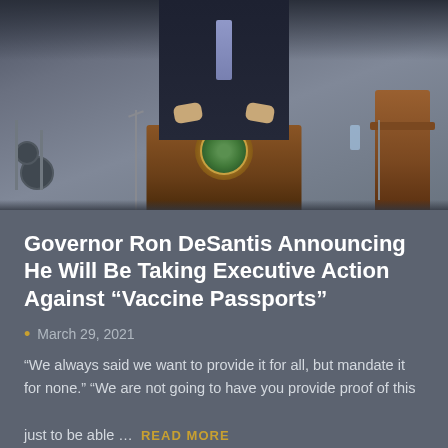[Figure (photo): Governor Ron DeSantis standing at a podium with the Great Seal of the State of Florida, wearing a dark suit and light purple tie, in what appears to be a church or hall setting with drum equipment visible on the left and wooden chairs on the right.]
Governor Ron DeSantis Announcing He Will Be Taking Executive Action Against “Vaccine Passports”
March 29, 2021
“We always said we want to provide it for all, but mandate it for none.” “We are not going to have you provide proof of this just to be able … READ MORE